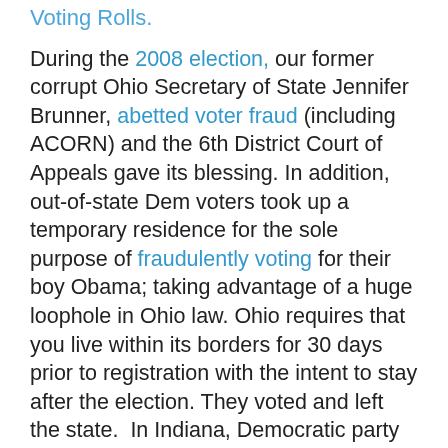Voting Rolls.
During the 2008 election, our former corrupt Ohio Secretary of State Jennifer Brunner, abetted voter fraud (including ACORN) and the 6th District Court of Appeals gave its blessing. In addition, out-of-state Dem voters took up a temporary residence for the sole purpose of fraudulently voting for their boy Obama; taking advantage of a huge loophole in Ohio law. Ohio requires that you live within its borders for 30 days prior to registration with the intent to stay after the election. They voted and left the state.  In Indiana, Democratic party chairman, Butch Morgan, resigned after hundreds of faked signatures were discovered on petitions for B. Hussein Obama and Hillary Clinton during the 2008 primaries.
During the 2010 elections, the Dems picked up where they left off.  The DOJ blocked any efforts to remove ineligible names – dead people, felons, people who